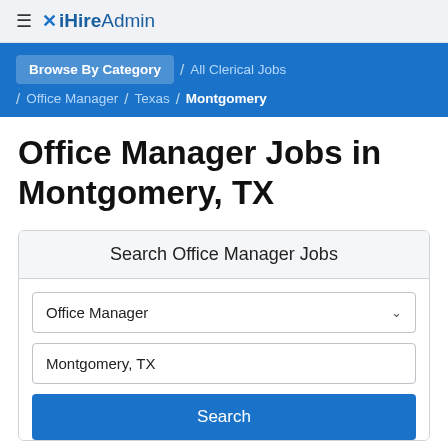≡ iHireAdmin
Browse By Category / All Clerical Jobs / Office Manager / Texas / Montgomery
Office Manager Jobs in Montgomery, TX
Search Office Manager Jobs
Office Manager
Montgomery, TX
Search